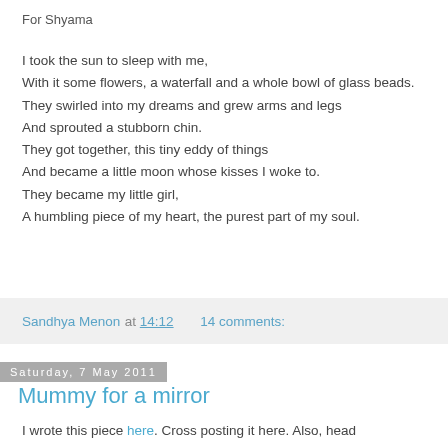For Shyama
I took the sun to sleep with me,
With it some flowers, a waterfall and a whole bowl of glass beads.
They swirled into my dreams and grew arms and legs
And sprouted a stubborn chin.
They got together, this tiny eddy of things
And became a little moon whose kisses I woke to.
They became my little girl,
A humbling piece of my heart, the purest part of my soul.
Sandhya Menon at 14:12     14 comments:
Saturday, 7 May 2011
Mummy for a mirror
I wrote this piece here. Cross posting it here. Also, head